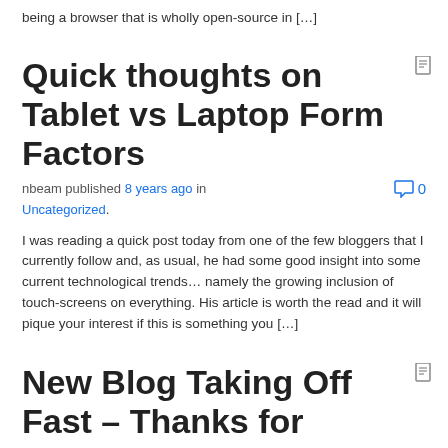being a browser that is wholly open-source in […]
Quick thoughts on Tablet vs Laptop Form Factors
nbeam published 8 years ago in Uncategorized.
I was reading a quick post today from one of the few bloggers that I currently follow and, as usual, he had some good insight into some current technological trends… namely the growing inclusion of touch-screens on everything. His article is worth the read and it will pique your interest if this is something you […]
New Blog Taking Off Fast – Thanks for Reading My Thoughts Here at